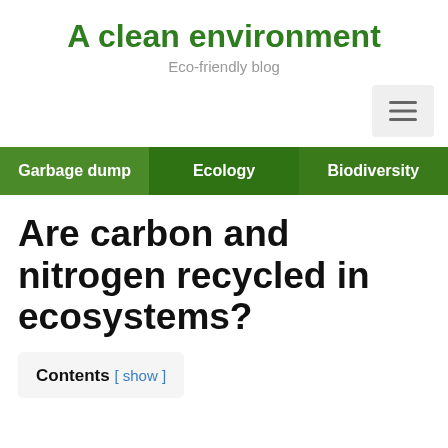A clean environment
Eco-friendly blog
[Figure (other): Hamburger menu button icon]
Garbage dump   Ecology   Biodiversity
Are carbon and nitrogen recycled in ecosystems?
Contents [ show ]